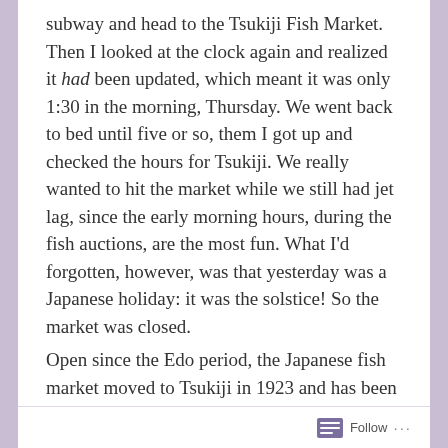subway and head to the Tsukiji Fish Market. Then I looked at the clock again and realized it had been updated, which meant it was only 1:30 in the morning, Thursday. We went back to bed until five or so, them I got up and checked the hours for Tsukiji. We really wanted to hit the market while we still had jet lag, since the early morning hours, during the fish auctions, are the most fun. What I'd forgotten, however, was that yesterday was a Japanese holiday: it was the solstice! So the market was closed.
Open since the Edo period, the Japanese fish market moved to Tsukiji in 1923 and has been in business ever since. It's an institution. Whenever I come to Tokyo, I always try and make it to the market my first morning. There's something fun about having ultra-fresh sushi at 7 am, shoulder to shoulder with a lot of the fish market laborers. On my first visit to Tsukiji, in 1997, there weren't a lot of tourists there; Google hadn't been invented yet (had it?). I remember trying to hand
Follow